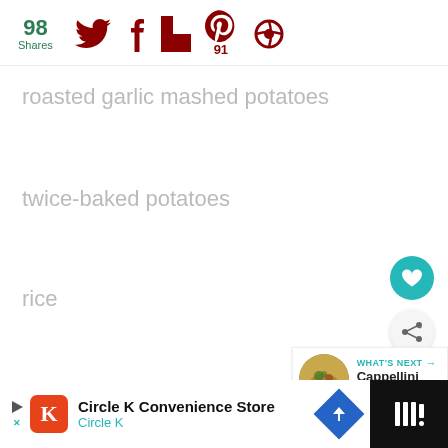98 Shares (social share bar with Twitter, Facebook, Flipboard, Pinterest (91), and another icon)
roasted garlic mashed potatoes
twice-baked potatoes
rice
favorite pasta
[Figure (screenshot): WHAT'S NEXT arrow label with thumbnail of Cappellini Spinaci... dish]
Circle K Convenience Store - Circle K advertisement